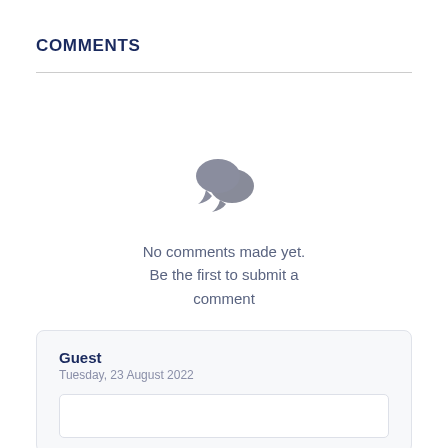COMMENTS
[Figure (illustration): Two overlapping speech bubble icons in gray, indicating a comments section with no content.]
No comments made yet.
Be the first to submit a comment
Guest
Tuesday, 23 August 2022